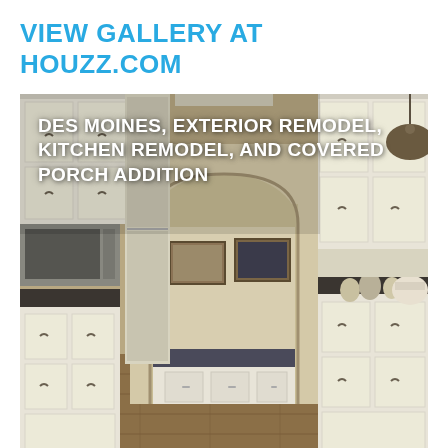VIEW GALLERY AT HOUZZ.COM
[Figure (photo): Interior kitchen remodel photo showing galley-style kitchen with white cabinets, dark countertops, hardwood floors, arched doorway leading to butler's pantry with two framed pictures on the wall, pendant light fixture on right, and various kitchen appliances and items on counters.]
DES MOINES, EXTERIOR REMODEL, KITCHEN REMODEL, AND COVERED PORCH ADDITION